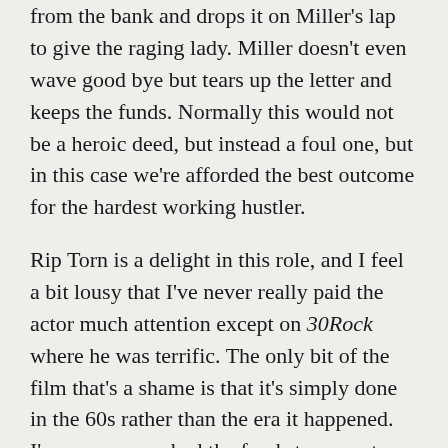from the bank and drops it on Miller's lap to give the raging lady. Miller doesn't even wave good bye but tears up the letter and keeps the funds. Normally this would not be a heroic deed, but instead a foul one, but in this case we're afforded the best outcome for the hardest working hustler.
Rip Torn is a delight in this role, and I feel a bit lousy that I've never really paid the actor much attention except on 30Rock where he was terrific. The only bit of the film that's a shame is that it's simply done in the 60s rather than the era it happened. I'm sure no one had the funds to recreate Miller's 1920s Paris.